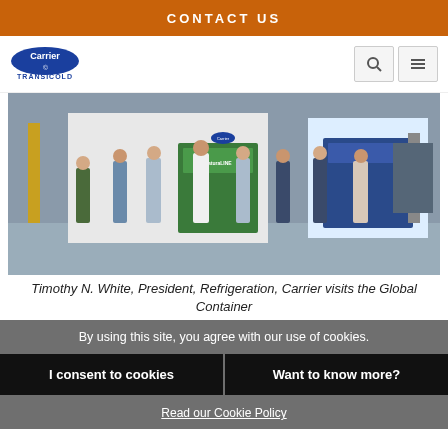CONTACT US
[Figure (logo): Carrier Transicold logo — blue oval with 'Carrier' text and 'TRANSICOLD' below]
[Figure (photo): Group photo of eight men standing in front of Carrier Transicold container refrigeration units (NaturaLINE and another unit) in a manufacturing facility]
Timothy N. White, President, Refrigeration, Carrier visits the Global Container
By using this site, you agree with our use of cookies.
I consent to cookies
Want to know more?
Read our Cookie Policy